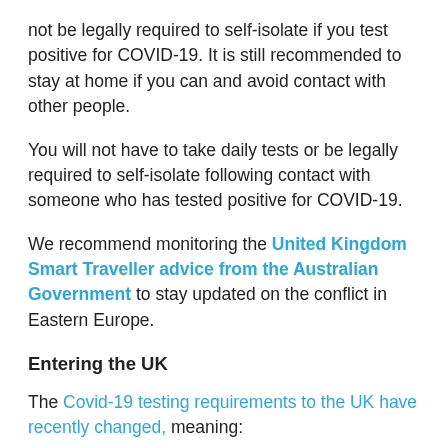not be legally required to self-isolate if you test positive for COVID-19. It is still recommended to stay at home if you can and avoid contact with other people.
You will not have to take daily tests or be legally required to self-isolate following contact with someone who has tested positive for COVID-19.
We recommend monitoring the United Kingdom Smart Traveller advice from the Australian Government to stay updated on the conflict in Eastern Europe.
Entering the UK
The Covid-19 testing requirements to the UK have recently changed, meaning: